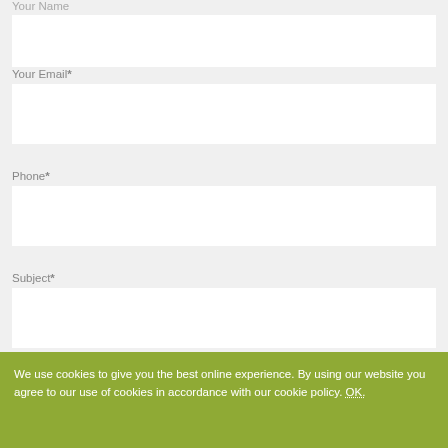Your Name
Your Email*
Phone*
Subject*
Your Message*
We use cookies to give you the best online experience. By using our website you agree to our use of cookies in accordance with our cookie policy. OK.